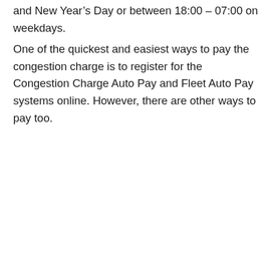and New Year's Day or between 18:00 – 07:00 on weekdays.
One of the quickest and easiest ways to pay the congestion charge is to register for the Congestion Charge Auto Pay and Fleet Auto Pay systems online. However, there are other ways to pay too.